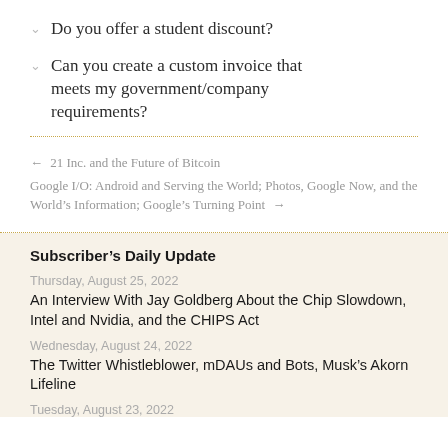Do you offer a student discount?
Can you create a custom invoice that meets my government/company requirements?
← 21 Inc. and the Future of Bitcoin
Google I/O: Android and Serving the World; Photos, Google Now, and the World's Information; Google's Turning Point →
Subscriber's Daily Update
Thursday, August 25, 2022
An Interview With Jay Goldberg About the Chip Slowdown, Intel and Nvidia, and the CHIPS Act
Wednesday, August 24, 2022
The Twitter Whistleblower, mDAUs and Bots, Musk's Akorn Lifeline
Tuesday, August 23, 2022